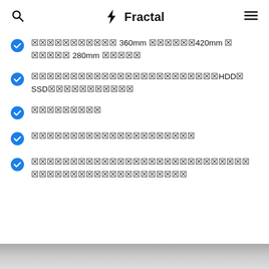Fractal
󾠮󾠮󾠮󾠮󾠮󾠮󾠮󾠮󾠮󾠮󾠮 360mm 󾠮󾠮󾠮󾠮󾠮󾠮420mm 󾠮 󾠮󾠮󾠮󾠮󾠮 280mm 󾠮󾠮󾠮󾠮󾠮
󾠮󾠮󾠮󾠮󾠮󾠮󾠮󾠮󾠮󾠮󾠮󾠮󾠮󾠮󾠮󾠮󾠮󾠮󾠮󾠮󾠮󾠮󾠮󾠮HDD󾠮 SSD󾠮󾠮󾠮󾠮󾠮󾠮󾠮󾠮󾠮󾠮󾠮
󾠮󾠮󾠮󾠮󾠮󾠮󾠮󾠮󾠮
󾠮󾠮󾠮󾠮󾠮󾠮󾠮󾠮󾠮󾠮󾠮󾠮󾠮󾠮󾠮󾠮󾠮󾠮󾠮󾠮󾠮
󾠮󾠮󾠮󾠮󾠮󾠮󾠮󾠮󾠮󾠮󾠮󾠮󾠮󾠮󾠮󾠮󾠮󾠮󾠮󾠮󾠮󾠮󾠮󾠮󾠮󾠮󾠮 󾠮󾠮󾠮󾠮󾠮󾠮󾠮󾠮󾠮󾠮󾠮󾠮󾠮󾠮󾠮󾠮󾠮󾠮